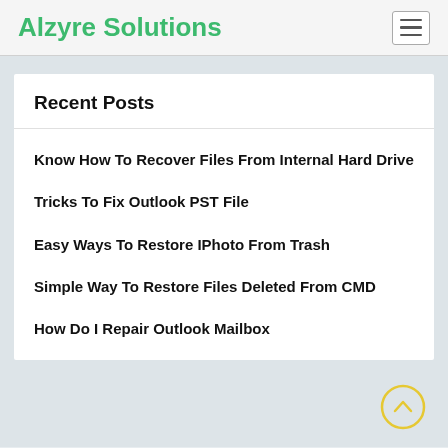Alzyre Solutions
Recent Posts
Know How To Recover Files From Internal Hard Drive
Tricks To Fix Outlook PST File
Easy Ways To Restore IPhoto From Trash
Simple Way To Restore Files Deleted From CMD
How Do I Repair Outlook Mailbox